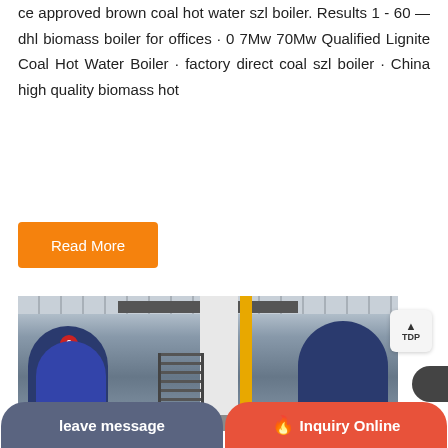ce approved brown coal hot water szl boiler. Results 1 - 60 — dhl biomass boiler for offices · 0 7Mw 70Mw Qualified Lignite Coal Hot Water Boiler · factory direct coal szl boiler · China high quality biomass hot
[Figure (other): Orange 'Read More' button]
[Figure (photo): Industrial boiler room with two large blue cylindrical boilers, yellow pipes, metal staircases, and a concrete column in a factory setting. A WhatsApp sticker-saving overlay appears in the bottom-left corner of the image.]
[Figure (other): TDP scroll-to-top button on the right side]
leave message
Inquiry Online